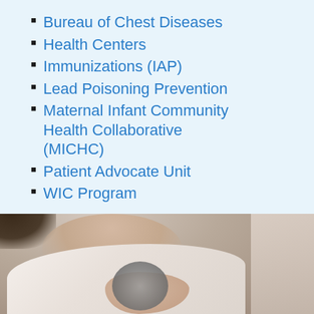Bureau of Chest Diseases
Health Centers
Immunizations (IAP)
Lead Poisoning Prevention
Maternal Infant Community Health Collaborative (MICHC)
Patient Advocate Unit
WIC Program
[Figure (photo): A patient in a white shirt having a stethoscope pressed to their chest by a doctor's hand. Close-up medical examination photo.]